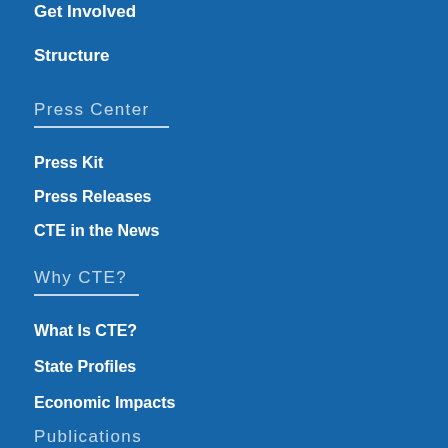Get Involved
Structure
Press Center
Press Kit
Press Releases
CTE in the News
Why CTE?
What Is CTE?
State Profiles
Economic Impacts
Publications